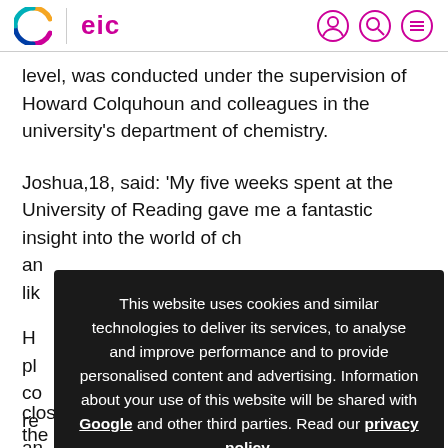C | eic
level, was conducted under the supervision of Howard Colquhoun and colleagues in the university's department of chemistry.
Joshua,18, said: 'My five weeks spent at the University of Reading gave me a fantastic insight into the world of ch... an... lik...
H... rk pl... co... re... an...
[Figure (screenshot): Cookie consent overlay on dark background reading: 'This website uses cookies and similar technologies to deliver its services, to analyse and improve performance and to provide personalised content and advertising. Information about your use of this website will be shared with Google and other third parties. Read our privacy policy.' with an OK button in yellow.]
closely with Reading experts who taught him the synthetic